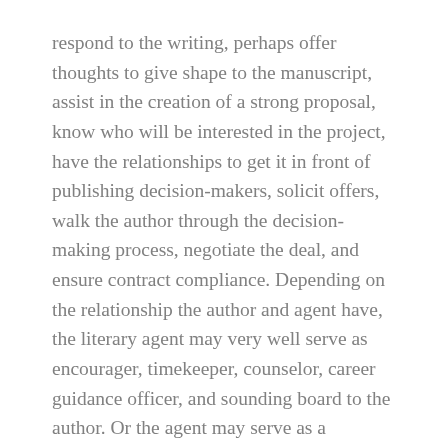respond to the writing, perhaps offer thoughts to give shape to the manuscript, assist in the creation of a strong proposal, know who will be interested in the project, have the relationships to get it in front of publishing decision-makers, solicit offers, walk the author through the decision-making process, negotiate the deal, and ensure contract compliance. Depending on the relationship the author and agent have, the literary agent may very well serve as encourager, timekeeper, counselor, career guidance officer, and sounding board to the author. Or the agent may serve as a business manager, helping the author map out the details of making a life in the arts.
Why is an agent necessary? Because most authors